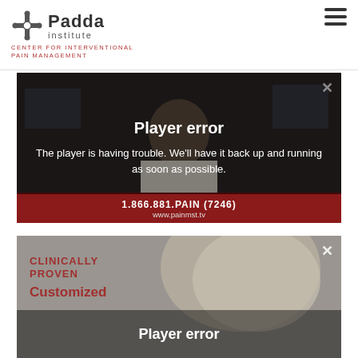Padda Institute — Center for Interventional Pain Management
[Figure (screenshot): Video player 1 showing a doctor in a lab coat with a 'Player error' overlay message. Footer bar shows '1.866.881.PAIN (7246)' and 'www.painmst.tv']
Player error
The player is having trouble. We'll have it back up and running as soon as possible.
[Figure (screenshot): Video player 2 showing a patient with grey hair with 'CLINICALLY PROVEN' and 'Customized' text and a 'Player error' overlay at bottom]